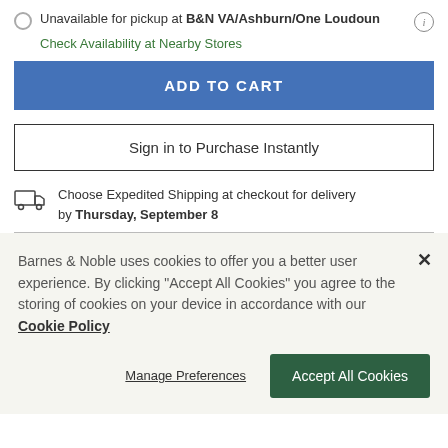Unavailable for pickup at B&N VA/Ashburn/One Loudoun
Check Availability at Nearby Stores
ADD TO CART
Sign in to Purchase Instantly
Choose Expedited Shipping at checkout for delivery by Thursday, September 8
Barnes & Noble uses cookies to offer you a better user experience. By clicking "Accept All Cookies" you agree to the storing of cookies on your device in accordance with our Cookie Policy
Manage Preferences
Accept All Cookies